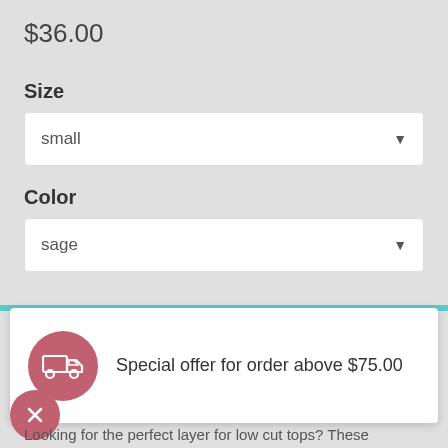$36.00
Size
small
Color
sage
Special offer for order above $75.00
Looking for the perfect layer for low cut tops? These